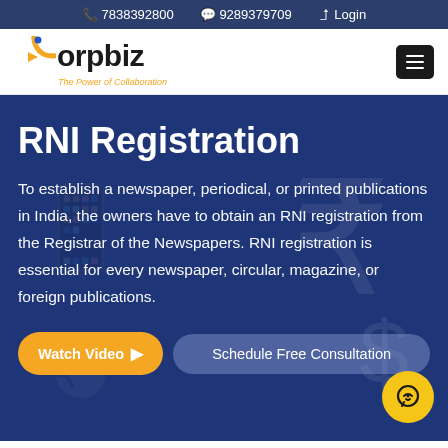7838392800  9289379709  Login
[Figure (logo): Corpbiz logo with orange arrow/C icon and tagline 'The Power of Collaboration']
RNI Registration
To establish a newspaper, periodical, or printed publications in India, the owners have to obtain an RNI registration from the Registrar of the Newspapers. RNI registration is essential for every newspaper, circular, magazine, or foreign publications.
Watch Video
Schedule Free Consultation